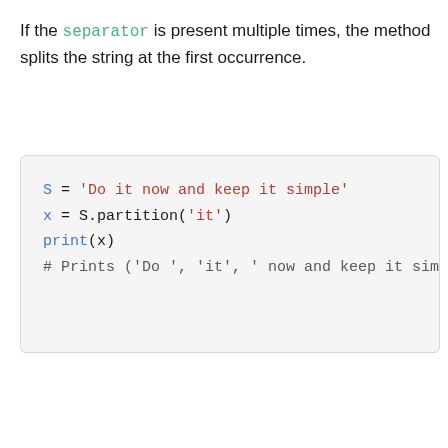If the separator is present multiple times, the method splits the string at the first occurrence.
[Figure (screenshot): Python code block showing: S = 'Do it now and keep it simple', x = S.partition('it'), print(x), # Prints ('Do ', 'it', ' now and keep it simp...]